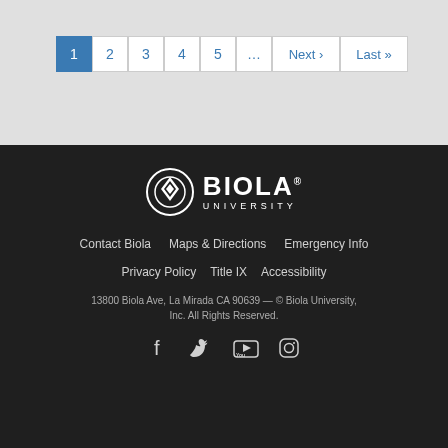Pagination: 1 (active), 2, 3, 4, 5, ..., Next ›, Last »
[Figure (logo): Biola University logo — circular emblem with overlapping arcs and diamond/leaf shape, white on dark background, with BIOLA in bold and UNIVERSITY in spaced caps]
Contact Biola   Maps & Directions   Emergency Info
Privacy Policy   Title IX   Accessibility
13800 Biola Ave, La Mirada CA 90639 — © Biola University, Inc. All Rights Reserved.
[Figure (other): Social media icons: Facebook, Twitter, YouTube, Instagram]